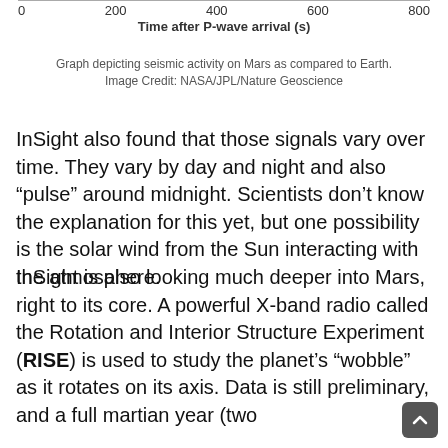[Figure (continuous-plot): Top portion of a seismic waveform graph showing x-axis with tick marks at 0, 200, 400, 600, 800 and label 'Time after P-wave arrival (s)']
Graph depicting seismic activity on Mars as compared to Earth. Image Credit: NASA/JPL/Nature Geoscience
InSight also found that those signals vary over time. They vary by day and night and also “pulse” around midnight. Scientists don’t know the explanation for this yet, but one possibility is the solar wind from the Sun interacting with the atmosphere.
InSight is also looking much deeper into Mars, right to its core. A powerful X-band radio called the Rotation and Interior Structure Experiment (RISE) is used to study the planet’s “wobble” as it rotates on its axis. Data is still preliminary, and a full martian year (two